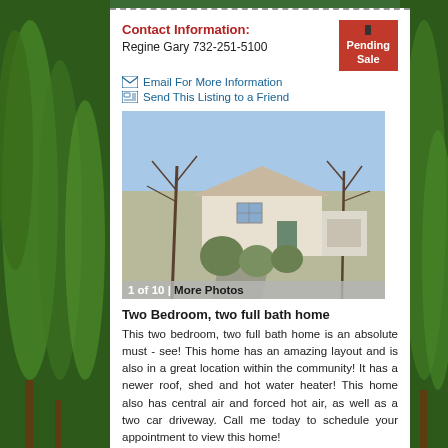Contact Information:
Regine Gary 732-251-5100
Pending Sale
Email For More Information
Send This Listing to a Friend
[Figure (photo): Exterior photo of a two-bedroom mobile/manufactured home with bare trees, shrubs, and a gravel driveway. Caption reads: 1 of 10 | More Photos]
1 of 10 | More Photos
Two Bedroom, two full bath home
This two bedroom, two full bath home is an absolute must - see! This home has an amazing layout and is also in a great location within the community! It has a newer roof, shed and hot water heater! This home also has central air and forced hot air, as well as a two car driveway. Call me today to schedule your appointment to view this home!